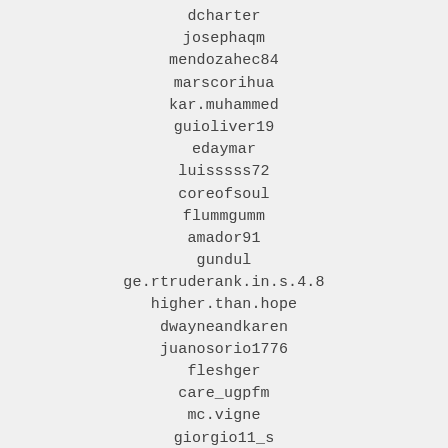dcharter
josephaqm
mendozahec84
marscorihua
kar.muhammed
guioliver19
edaymar
luisssss72
coreofsoul
flummgumm
amador91
gundul
ge.rtruderank.in.s.4.8
higher.than.hope
dwayneandkaren
juanosorio1776
fleshger
care_ugpfm
mc.vigne
giorgio11_s
hgklm
dr_agnes
aliserkansimsek
dezze_my_nezze